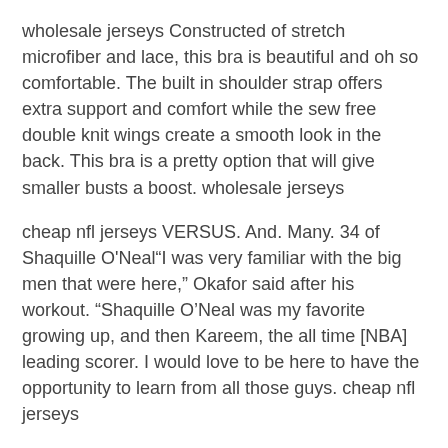wholesale jerseys Constructed of stretch microfiber and lace, this bra is beautiful and oh so comfortable. The built in shoulder strap offers extra support and comfort while the sew free double knit wings create a smooth look in the back. This bra is a pretty option that will give smaller busts a boost. wholesale jerseys
cheap nfl jerseys VERSUS. And. Many. 34 of Shaquille O'Neal"I was very familiar with the big men that were here," Okafor said after his workout. "Shaquille O'Neal was my favorite growing up, and then Kareem, the all time [NBA] leading scorer. I would love to be here to have the opportunity to learn from all those guys. cheap nfl jerseys
wholesale nfl jerseys from china Finally, Roche confronts the common interpretation of the Federalist Papers as the great interpreter and explainer of the purpose of the Constitution. Throughout history, The Federalist has been used without hesitation in blatant examination of the United States Constitution. Roche concedes that the main components of the Federalist Papers cheap jerseys, James Madison and Alexander Hamilton, had a distinct talent for